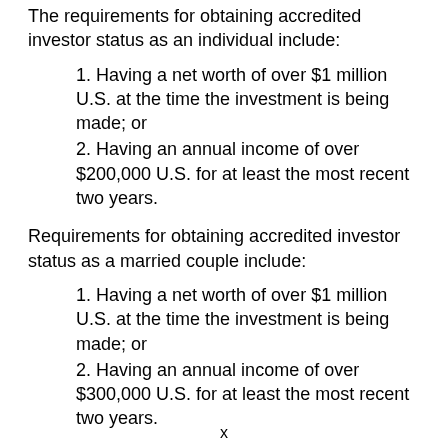The requirements for obtaining accredited investor status as an individual include:
1. Having a net worth of over $1 million U.S. at the time the investment is being made; or
2. Having an annual income of over $200,000 U.S. for at least the most recent two years.
Requirements for obtaining accredited investor status as a married couple include:
1. Having a net worth of over $1 million U.S. at the time the investment is being made; or
2. Having an annual income of over $300,000 U.S. for at least the most recent two years.
x